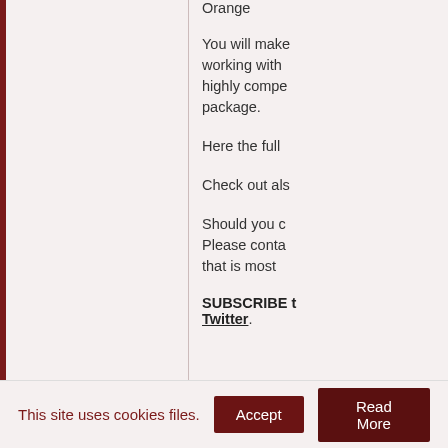Orange
You will make working with highly competitive package.
Here the full
Check out also
Should you c Please conta that is most
SUBSCRIBE t Twitter.
This site uses cookies files.